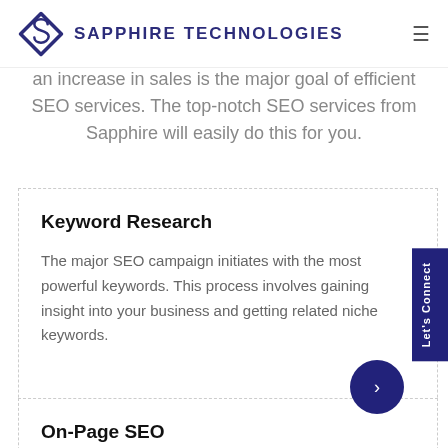Sapphire Technologies
an increase in sales is the major goal of efficient SEO services. The top-notch SEO services from Sapphire will easily do this for you.
Keyword Research
The major SEO campaign initiates with the most powerful keywords. This process involves gaining insight into your business and getting related niche keywords.
On-Page SEO